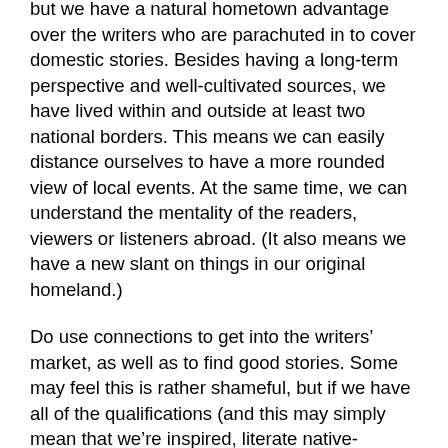but we have a natural hometown advantage over the writers who are parachuted in to cover domestic stories. Besides having a long-term perspective and well-cultivated sources, we have lived within and outside at least two national borders. This means we can easily distance ourselves to have a more rounded view of local events. At the same time, we can understand the mentality of the readers, viewers or listeners abroad. (It also means we have a new slant on things in our original homeland.)
Do use connections to get into the writers' market, as well as to find good stories. Some may feel this is rather shameful, but if we have all of the qualifications (and this may simply mean that we're inspired, literate native-English speakers), why not get the edge by dropping a name? Rest assured, everyone else will.
Do milk our status as transnationals. At press conferences, the Greek organizers always responded to my raised hand, no